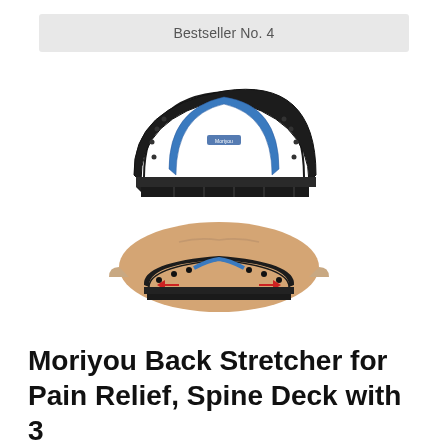Bestseller No. 4
[Figure (photo): Product photo of the Moriyou Back Stretcher - showing the arched black and blue spine stretcher device from above, and a second image below showing it in use under a person's lower back with red arrows indicating pressure points.]
Moriyou Back Stretcher for Pain Relief, Spine Deck with 3